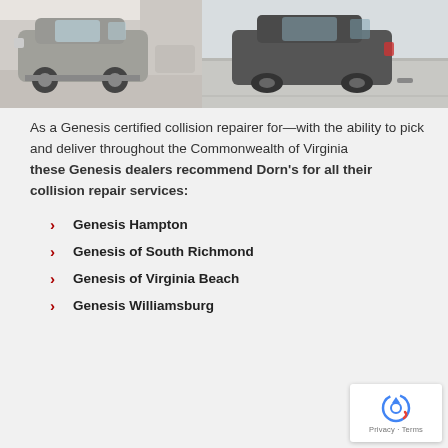[Figure (photo): Left photo: a silver SUV inside an auto body/collision repair shop]
[Figure (photo): Right photo: dark-colored SUV parked outdoors in a lot]
As a Genesis certified collision repairer for—with the ability to pick and deliver throughout the Commonwealth of Virginia these Genesis dealers recommend Dorn's for all their collision repair services:
Genesis Hampton
Genesis of South Richmond
Genesis of Virginia Beach
Genesis Williamsburg